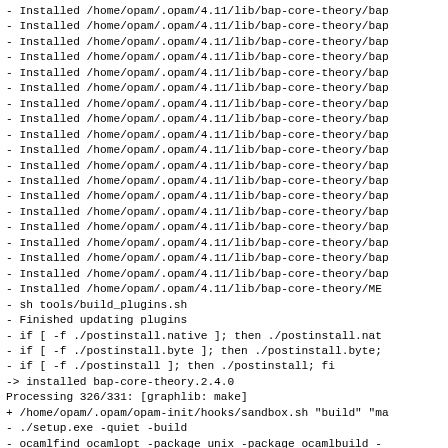- Installed /home/opam/.opam/4.11/lib/bap-core-theory/bap
- Installed /home/opam/.opam/4.11/lib/bap-core-theory/bap
- Installed /home/opam/.opam/4.11/lib/bap-core-theory/bap
- Installed /home/opam/.opam/4.11/lib/bap-core-theory/bap
- Installed /home/opam/.opam/4.11/lib/bap-core-theory/bap
- Installed /home/opam/.opam/4.11/lib/bap-core-theory/bap
- Installed /home/opam/.opam/4.11/lib/bap-core-theory/bap
- Installed /home/opam/.opam/4.11/lib/bap-core-theory/bap
- Installed /home/opam/.opam/4.11/lib/bap-core-theory/bap
- Installed /home/opam/.opam/4.11/lib/bap-core-theory/bap
- Installed /home/opam/.opam/4.11/lib/bap-core-theory/bap
- Installed /home/opam/.opam/4.11/lib/bap-core-theory/bap
- Installed /home/opam/.opam/4.11/lib/bap-core-theory/bap
- Installed /home/opam/.opam/4.11/lib/bap-core-theory/bap
- Installed /home/opam/.opam/4.11/lib/bap-core-theory/bap
- Installed /home/opam/.opam/4.11/lib/bap-core-theory/bap
- Installed /home/opam/.opam/4.11/lib/bap-core-theory/bap
- Installed /home/opam/.opam/4.11/lib/bap-core-theory/bap
- Installed /home/opam/.opam/4.11/lib/bap-core-theory/ME
- sh tools/build_plugins.sh
- Finished updating plugins
- if [ -f ./postinstall.native ]; then ./postinstall.nat
- if [ -f ./postinstall.byte ]; then ./postinstall.byte;
- if [ -f ./postinstall ]; then ./postinstall; fi
-> installed bap-core-theory.2.4.0
Processing 326/331: [graphlib: make]
+ /home/opam/.opam/opam-init/hooks/sandbox.sh "build" "ma
- ./setup.exe -quiet -build
- ocamlfind ocamlopt -package unix -package ocamlbuild -
- /home/opam/.opam/4.11/bin/ocamlfind ocamldep -modules f
- /home/opam/.opam/4.11/bin/ocamlfind ocamlopt